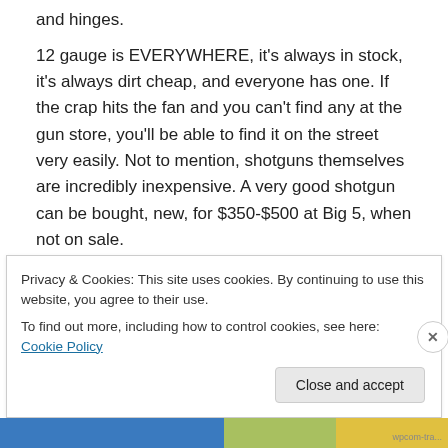and hinges.
12 gauge is EVERYWHERE, it's always in stock, it's always dirt cheap, and everyone has one. If the crap hits the fan and you can't find any at the gun store, you'll be able to find it on the street very easily. Not to mention, shotguns themselves are incredibly inexpensive. A very good shotgun can be bought, new, for $350-$500 at Big 5, when not on sale.
Notable 12 Gauge Firearms:
Mossberg 500, 930 and 935
Privacy & Cookies: This site uses cookies. By continuing to use this website, you agree to their use.
To find out more, including how to control cookies, see here: Cookie Policy